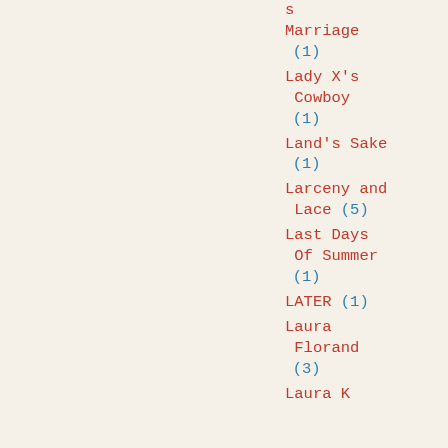s Marriage (1)
Lady X's Cowboy (1)
Land's Sake (1)
Larceny and Lace (5)
Last Days Of Summer (1)
LATER (1)
Laura Florand (3)
Laura K